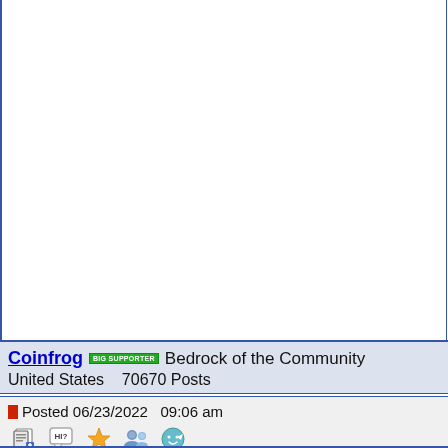Coinfrog  BIG SUPPORTER  Bedrock of the Community
United States   70670 Posts
Posted 06/23/2022  09:06 am